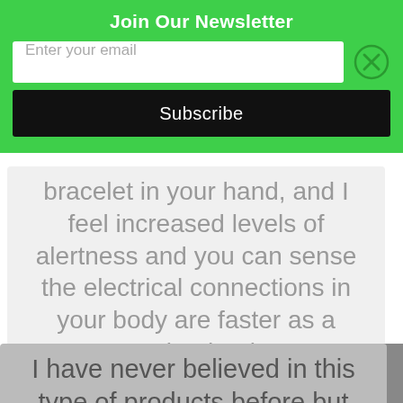Join Our Newsletter
Enter your email
Subscribe
bracelet in your hand, and I feel increased levels of alertness and you can sense the electrical connections in your body are faster as a result. Thanks
Eve Livaditis
Social Worker, 16 + Service (formerly Leaving Care Team)
I have never believed in this type of products before but one